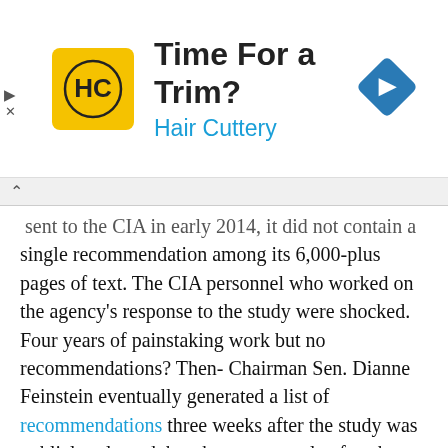[Figure (other): Advertisement banner for Hair Cuttery with yellow logo, 'Time For a Trim?' headline, 'Hair Cuttery' subtext in blue, and a blue diamond navigation icon on the right.]
...when the SSCI approved the final study, and sent it to the CIA in early 2014, it did not contain a single recommendation among its 6,000-plus pages of text. The CIA personnel who worked on the agency's response to the study were shocked. Four years of painstaking work but no recommendations? Then-Chairman Sen. Dianne Feinstein eventually generated a list of recommendations three weeks after the study was publicly released, but these came only after the SSCI received the CIA's response to the study, which contained its own more detailed set of proposed reforms (many of which had already been implemented). Feinstein's recommendations were not particularly insightful and received little attention since they were not released with the study. In